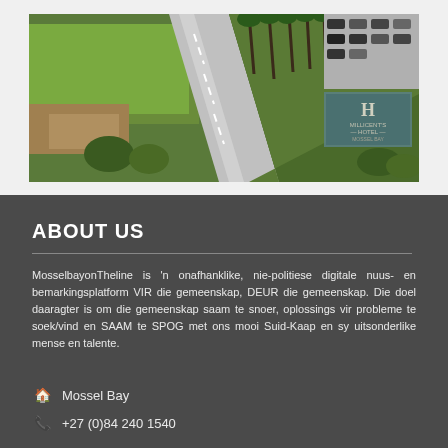[Figure (photo): Aerial photograph of a road with green lawns and palm trees, parking area with cars visible, hotel logo in top right corner]
ABOUT US
MosselbayonTheline is 'n onafhanklike, nie-politiese digitale nuus- en bemarkingsplatform VIR die gemeenskap, DEUR die gemeenskap. Die doel daaragter is om die gemeenskap saam te snoer, oplossings vir probleme te soek/vind en SAAM te SPOG met ons mooi Suid-Kaap en sy uitsonderlike mense en talente.
Mossel Bay
+27 (0)84 240 1540